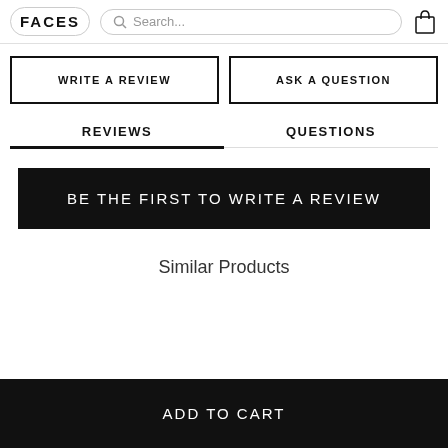FACES | Search... | Cart
WRITE A REVIEW
ASK A QUESTION
REVIEWS
QUESTIONS
BE THE FIRST TO WRITE A REVIEW
Similar Products
ADD TO CART